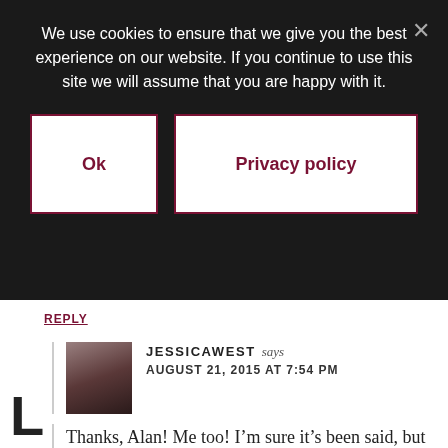We use cookies to ensure that we give you the best experience on our website. If you continue to use this site we will assume that you are happy with it.
Ok
Privacy policy
REPLY
JESSICAWEST says
AUGUST 21, 2015 AT 7:54 PM
Thanks, Alan! Me too! I’m sure it’s been said, but it hasn’t been/can’t be said enough.
REPLY